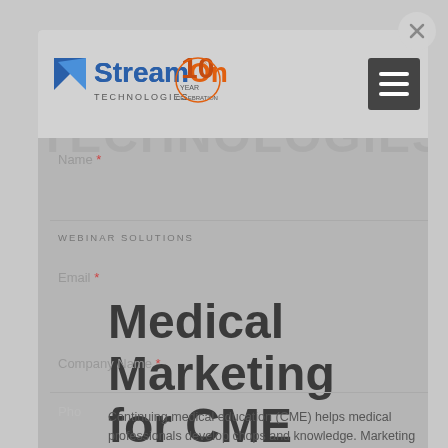[Figure (logo): StreamOn Technologies logo with 10 Year Celebration badge]
Name *
WEBINAR SOLUTIONS
Email *
Medical Marketing for CME Events Promotions
Company Name *
Phone *
Continuing medical education (CME) helps medical professionals develop chops and knowledge. Marketing can make or break the